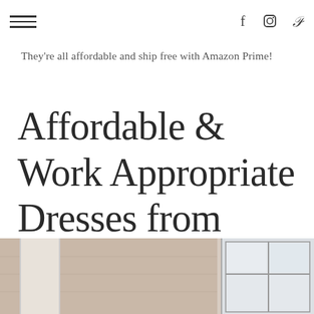They're all affordable and ship free with Amazon Prime!
Affordable & Work Appropriate Dresses from Amazon
[Figure (photo): Bottom portion of a photo showing an architectural interior with brick wall, white column, and large glass window/door on the right side]